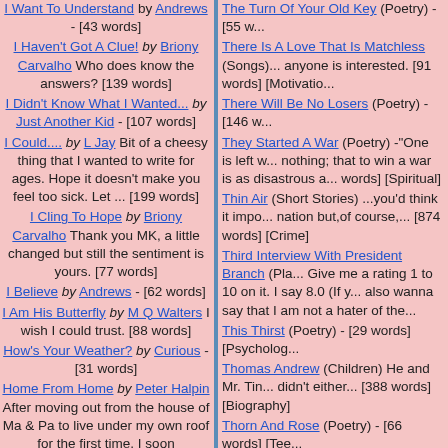I Want To Understand by Andrews - [43 words]
I Haven't Got A Clue! by Briony Carvalho Who does know the answers? [139 words]
I Didn't Know What I Wanted... by Just Another Kid - [107 words]
I Could.... by L Jay Bit of a cheesy thing that I wanted to write for ages. Hope it doesn't make you feel too sick. Let ... [199 words]
I Cling To Hope by Briony Carvalho Thank you MK, a little changed but still the sentiment is yours. [77 words]
I Believe by Andrews - [62 words]
I Am His Butterfly by M Q Walters I wish I could trust. [88 words]
How's Your Weather? by Curious - [31 words]
Home From Home by Peter Halpin After moving out from the house of Ma & Pa to live under my own roof for the first time, I soon...
The Turn Of Your Old Key (Poetry) - [55 words]
There Is A Love That Is Matchless (Songs) anyone is interested. [91 words] [Motivation...]
There Will Be No Losers (Poetry) - [146 words]
They Started A War (Poetry) -"One is left with nothing; that to win a war is as disastrous a... words] [Spiritual]
Thin Air (Short Stories) ...you'd think it impo... nation but,of course,... [874 words] [Crime]
Third Interview With President Branch (Pla... Give me a rating 1 to 10 on it. I say 8.0 (If y... also wanna say that I am not a hater of the...
This Thirst (Poetry) - [29 words] [Psychology...]
Thomas Andrew (Children) He and Mr. Tin... didn't either... [388 words] [Biography]
Thorn And Rose (Poetry) - [66 words] [Tee...]
Those Images (Poetry) - [30 words] [Relati...]
Three Poem Collection (Poetry) No particu... Poem for Cathy; Ingots; and The Saltless S...
Three Poem Collection No. 2 (Poetry) The... bug off; Fat Farm Arrival; and Bleak Annive...
Three-Song Collection (Songs) Two are su... author's music is available for evaluation. S... at others the lyrics. [410 words] [Spiritual]
Tight Jeans 1 (Short Stories) - [264 words]
Tight Jeans 2 (Short Stories) - [246 words]
Tight Jeans 3 (Short Stories) ... but she wa...